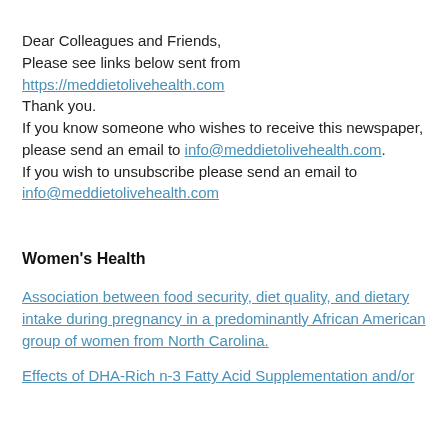Dear Colleagues and Friends,
Please see links below sent from
https://meddietolivehealth.com
Thank you.
If you know someone who wishes to receive this newspaper, please send an email to info@meddietolivehealth.com.
If you wish to unsubscribe please send an email to info@meddietolivehealth.com
Women's Health
Association between food security, diet quality, and dietary intake during pregnancy in a predominantly African American group of women from North Carolina.
Effects of DHA-Rich n-3 Fatty Acid Supplementation and/or